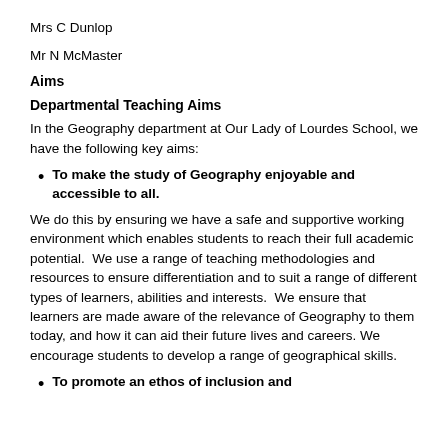Mrs C Dunlop
Mr N McMaster
Aims
Departmental Teaching Aims
In the Geography department at Our Lady of Lourdes School, we have the following key aims:
To make the study of Geography enjoyable and accessible to all.
We do this by ensuring we have a safe and supportive working environment which enables students to reach their full academic potential.  We use a range of teaching methodologies and resources to ensure differentiation and to suit a range of different types of learners, abilities and interests.  We ensure that learners are made aware of the relevance of Geography to them today, and how it can aid their future lives and careers.  We encourage students to develop a range of geographical skills.
To promote an ethos of inclusion and